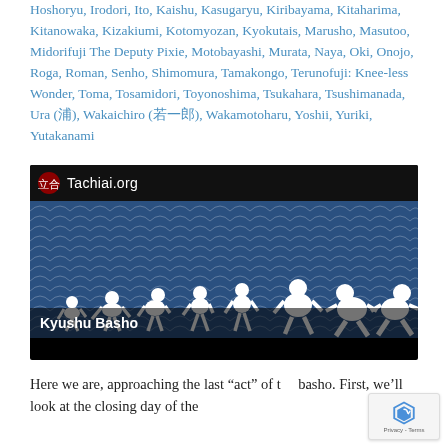Hoshoryu, Irodori, Ito, Kaishu, Kasugaryu, Kiribayama, Kitaharima, Kitanowaka, Kizakiumi, Kotomyozan, Kyokutais, Marusho, Masutoo, Midorifuji The Deputy Pixie, Motobayashi, Murata, Naya, Oki, Onojo, Roga, Roman, Senho, Shimomura, Tamakongo, Terunofuji: Knee-less Wonder, Toma, Tosamidori, Toyonoshima, Tsukahara, Tsushimanada, Ura (浦), Wakaichiro (若一郎), Wakamotoharu, Yoshii, Yuriki, Yutakanami
[Figure (illustration): Tachiai.org website banner image showing the evolution of man silhouette graphic (from ape to upright human to sumo wrestlers) on a blue Japanese scallop-pattern background, with 'Kyushu Basho' text overlay at bottom.]
Here we are, approaching the last “act” of t he basho. First, we’ll look at the closing day of the